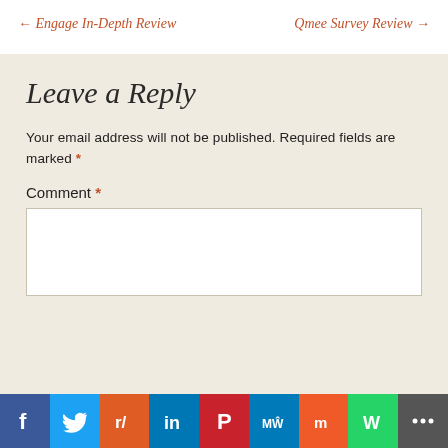← Engage In-Depth Review   Qmee Survey Review →
Leave a Reply
Your email address will not be published. Required fields are marked *
Comment *
[Figure (infographic): Social sharing bar with icons: Facebook, Twitter, Reddit, LinkedIn, Pinterest, MixedWrench, Mix, WhatsApp, More]